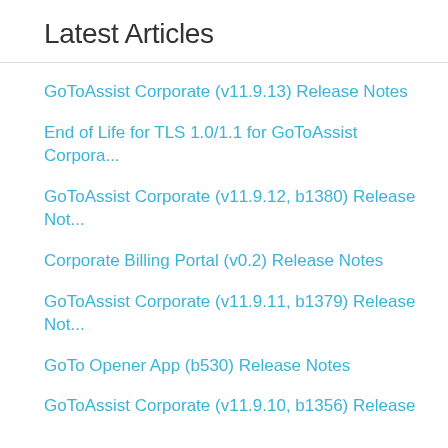Latest Articles
GoToAssist Corporate (v11.9.13) Release Notes
End of Life for TLS 1.0/1.1 for GoToAssist Corpora...
GoToAssist Corporate (v11.9.12, b1380) Release Not...
Corporate Billing Portal (v0.2) Release Notes
GoToAssist Corporate (v11.9.11, b1379) Release Not...
GoTo Opener App (b530) Release Notes
GoToAssist Corporate (v11.9.10, b1356) Release